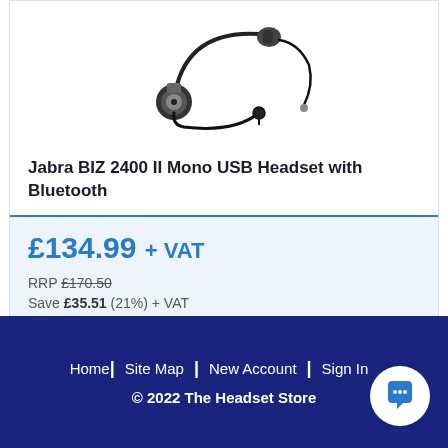[Figure (photo): Jabra BIZ 2400 II Mono USB headset product photo showing headset with boom microphone on white background]
Jabra BIZ 2400 II Mono USB Headset with Bluetooth
£134.99 + VAT
RRP £170.50
Save £35.51 (21%) + VAT
Call 01675 432 123 for Availability
Home | Site Map | New Account | Sign In
© 2022 The Headset Store